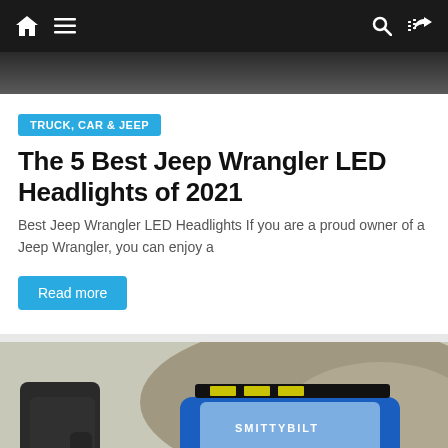Navigation bar with home, menu, search, and shuffle icons
[Figure (photo): Top partial image of a dark scene, partially cropped]
TRUCK, CAR & JEEP
The 5 Best Jeep Wrangler LED Headlights of 2021
Best Jeep Wrangler LED Headlights If you are a proud owner of a Jeep Wrangler, you can enjoy a
Read more
[Figure (photo): Photo of a blue Jeep Wrangler with Smittybilt branding, person holding a winch rope in foreground, rocky terrain in background]